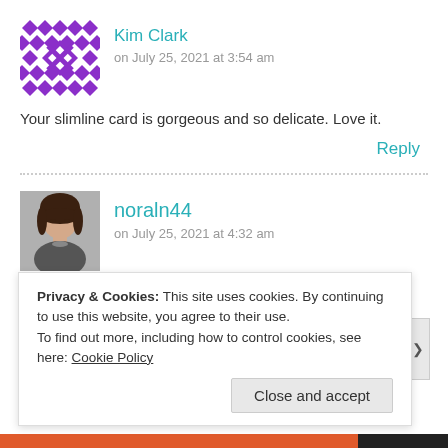[Figure (illustration): Purple diamond/cross pattern avatar for Kim Clark]
Kim Clark
on July 25, 2021 at 3:54 am
Your slimline card is gorgeous and so delicate. Love it.
Reply
[Figure (photo): Profile photo of noraln44 — woman with dark hair, bangs]
noraln44
on July 25, 2021 at 4:32 am
Your cards are TOTALLY amazing!! So soft and girly!!
Privacy & Cookies: This site uses cookies. By continuing to use this website, you agree to their use.
To find out more, including how to control cookies, see here: Cookie Policy
Close and accept